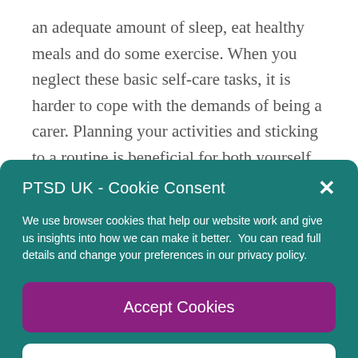an adequate amount of sleep, eat healthy meals and do some exercise. When you neglect these basic self-care tasks, it is harder to cope with the demands of being a carer. Planning your activities and sticking to a routine is beneficial for both yourself and the person for whom you care. Use a
PTSD UK - Cookie Consent
We use browser cookies that help our website work and give us insights into how we can make it better.  You can read full details and change your preferences in our privacy policy.
Accept Cookies
Edit Preferences
Cookie Policy    Privacy